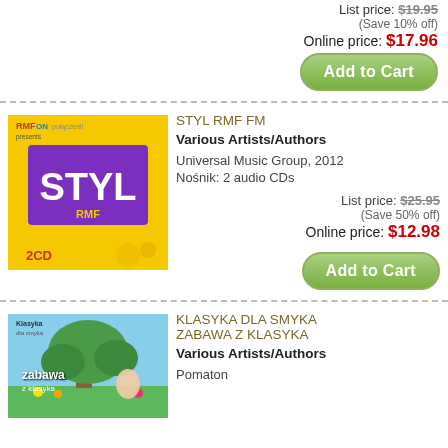List price: $19.95 (Save 10% off) Online price: $17.96
[Figure (illustration): Add to Cart button]
[Figure (illustration): STYL RMF FM album cover - yellow with purple STYL label, 2CD]
STYL RMF FM
Various Artists/Authors
Universal Music Group, 2012
Nośnik: 2 audio CDs
List price: $25.95 (Save 50% off) Online price: $12.98
[Figure (illustration): Add to Cart button]
[Figure (illustration): KLASYKA DLA SMYKA ZABAWA Z KLASYKA album cover - colorful illustration with tree and children]
KLASYKA DLA SMYKA ZABAWA Z KLASYKA
Various Artists/Authors
Pomaton